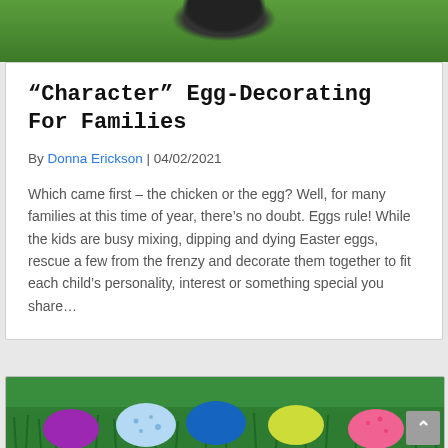[Figure (photo): Top portion of a photo showing what appears to be a green decorative item or toy, partially cropped]
“Character” Egg-Decorating For Families
By Donna Erickson | 04/02/2021
Which came first – the chicken or the egg? Well, for many families at this time of year, there’s no doubt. Eggs rule! While the kids are busy mixing, dipping and dying Easter eggs, rescue a few from the frenzy and decorate them together to fit each child’s personality, interest or something special you share…
[Figure (photo): Photo of colorful Easter eggs (purple, white/blue speckled, blue, yellow, pink) nestled in green grass]